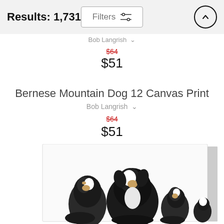Results: 1,731
Filters
Bob Langrish
$64
$51
Bernese Mountain Dog 12 Canvas Print
Bob Langrish
$64
$51
[Figure (photo): Canvas print showing a group of Bernese Mountain Dogs illustrated in a sketch/watercolor style, displayed on a canvas with visible side edge.]